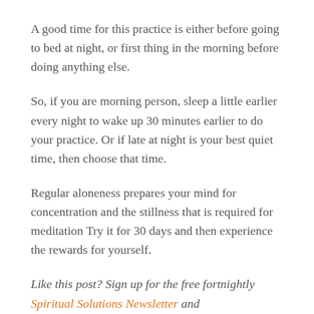A good time for this practice is either before going to bed at night, or first thing in the morning before doing anything else.
So, if you are morning person, sleep a little earlier every night to wake up 30 minutes earlier to do your practice. Or if late at night is your best quiet time, then choose that time.
Regular aloneness prepares your mind for concentration and the stillness that is required for meditation Try it for 30 days and then experience the rewards for yourself.
Like this post? Sign up for the free fortnightly Spiritual Solutions Newsletter and